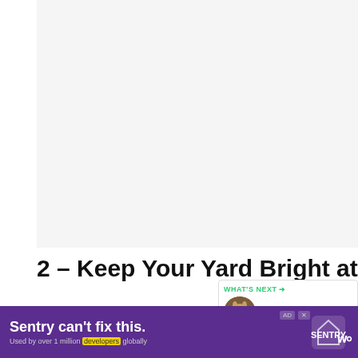[Figure (photo): Large photo placeholder area (light gray), likely an outdoor nighttime or yard scene]
[Figure (infographic): Green circular heart/like button showing 708 likes, and a share button below it]
2 – Keep Your Yard Bright at Night
Nighttime can be an especially
[Figure (infographic): WHAT'S NEXT callout box with thumbnail image and title 'Can Foxes Climb...']
[Figure (screenshot): Purple advertisement banner: Sentry can't fix this. Used by over 1 million developers globally. Sentry logo on right.]